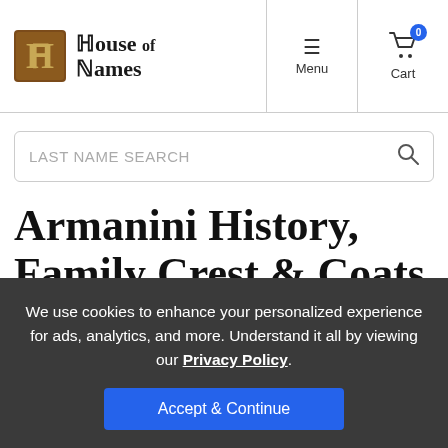House of Names — Menu | Cart (0)
LAST NAME SEARCH
Armanini History, Family Crest & Coats of Arms
We use cookies to enhance your personalized experience for ads, analytics, and more. Understand it all by viewing our Privacy Policy.
Accept & Continue